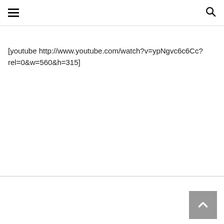[youtube http://www.youtube.com/watch?v=ypNgvc6c6Cc?rel=0&w=560&h=315]